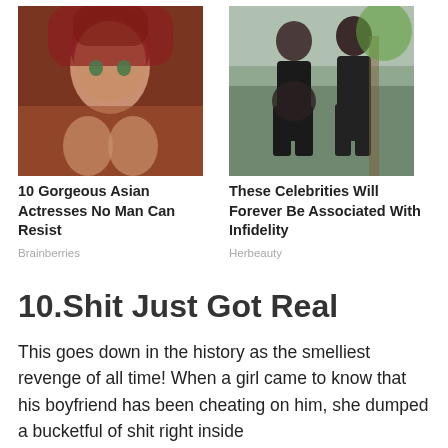[Figure (photo): Woman with red hair and headscarf posing]
[Figure (photo): Two people walking outdoors, one appears pregnant]
10 Gorgeous Asian Actresses No Man Can Resist
Brainberries
These Celebrities Will Forever Be Associated With Infidelity
Herbeauty
10.Shit Just Got Real
This goes down in the history as the smelliest revenge of all time! When a girl came to know that his boyfriend has been cheating on him, she dumped a bucketful of shit right inside